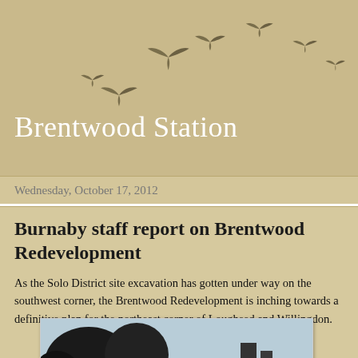[Figure (illustration): Decorative header with birds silhouettes flying in a V-formation arc against a sandy beige background]
Brentwood Station
Wednesday, October 17, 2012
Burnaby staff report on Brentwood Redevelopment
As the Solo District site excavation has gotten under way on the southwest corner, the Brentwood Redevelopment is inching towards a definitive plan for the northeast corner of Lougheed and Willingdon.
[Figure (photo): Partial view of an outdoor scene with trees and sky, shown at the bottom of the page]